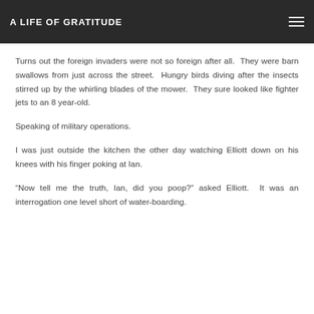A LIFE OF GRATITUDE
Turns out the foreign invaders were not so foreign after all.  They were barn swallows from just across the street.  Hungry birds diving after the insects stirred up by the whirling blades of the mower.  They sure looked like fighter jets to an 8 year-old.
Speaking of military operations.
I was just outside the kitchen the other day watching Elliott down on his knees with his finger poking at Ian.
"Now tell me the truth, Ian, did you poop?" asked Elliott.  It was an interrogation one level short of water-boarding.